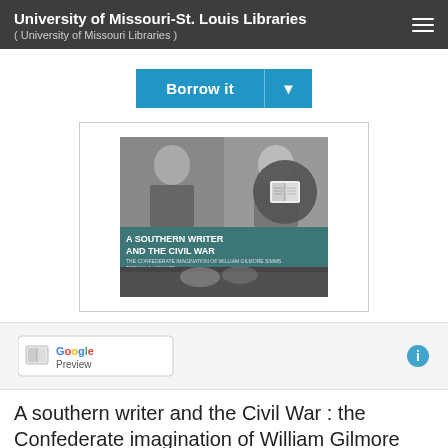University of Missouri-St. Louis Libraries ( University of Missouri Libraries )
[Figure (screenshot): Blue 'Borrow it' button with dropdown arrow]
[Figure (photo): Book cover: A Southern Writer and the Civil War, showing two portrait photos and a Civil War scene, with a book icon overlay]
[Figure (logo): Google Preview button with book icon]
A southern writer and the Civil War : the Confederate imagination of William Gilmore